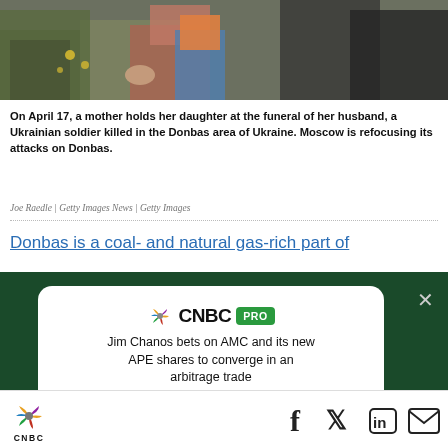[Figure (photo): Photo of a mother holding her daughter at a funeral, with people in military and civilian clothing visible]
On April 17, a mother holds her daughter at the funeral of her husband, a Ukrainian soldier killed in the Donbas area of Ukraine. Moscow is refocusing its attacks on Donbas.
Joe Raedle | Getty Images News | Getty Images
Donbas is a coal- and natural gas-rich part of
[Figure (screenshot): CNBC PRO advertisement: Jim Chanos bets on AMC and its new APE shares to converge in an arbitrage trade. Subscribe Now button.]